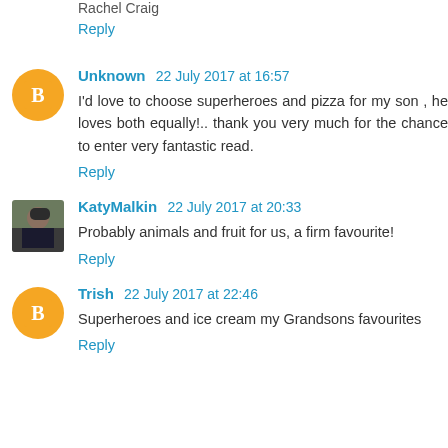Rachel Craig
Reply
Unknown 22 July 2017 at 16:57
I'd love to choose superheroes and pizza for my son , he loves both equally!.. thank you very much for the chance to enter very fantastic read.
Reply
KatyMalkin 22 July 2017 at 20:33
Probably animals and fruit for us, a firm favourite!
Reply
Trish 22 July 2017 at 22:46
Superheroes and ice cream my Grandsons favourites
Reply